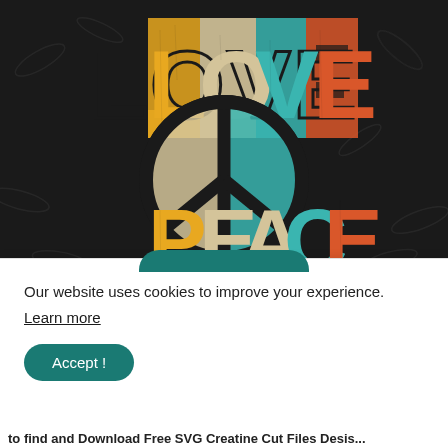[Figure (illustration): Colorful retro-style graphic on dark background with text 'LOVE' on top row and 'PEACE' on bottom row, with a peace sign symbol in the center. Letters are colored in yellow, cream/beige, teal/cyan, and orange-red in a vintage distressed style.]
Our website uses cookies to improve your experience.
Learn more
Accept !
to find and Download Free SVG Creatine Cut Files Desis...